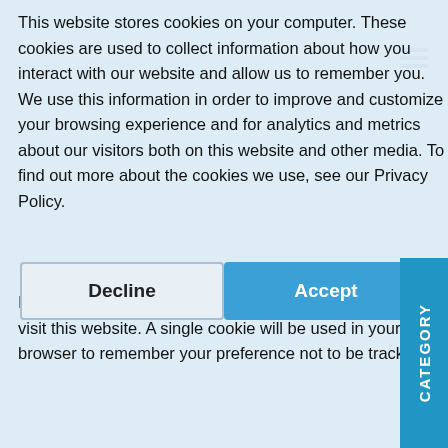This website stores cookies on your computer. These cookies are used to collect information about how you interact with our website and allow us to remember you. We use this information in order to improve and customize your browsing experience and for analytics and metrics about our visitors both on this website and other media. To find out more about the cookies we use, see our Privacy Policy.
If you decline, your information won't be tracked when you visit this website. A single cookie will be used in your browser to remember your preference not to be tracked.
Decline
Accept
CATEGORY